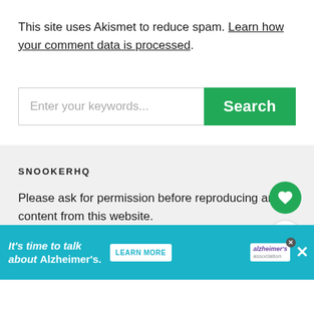This site uses Akismet to reduce spam. Learn how your comment data is processed.
[Figure (screenshot): Search bar with placeholder 'Enter your keywords...' and green Search button]
SNOOKERHQ
Please ask for permission before reproducing any content from this website.
If you want to have your link shared on this w...
[Figure (screenshot): Alzheimer's Association advertisement banner: 'It's time to talk about Alzheimer's.' with Learn More button]